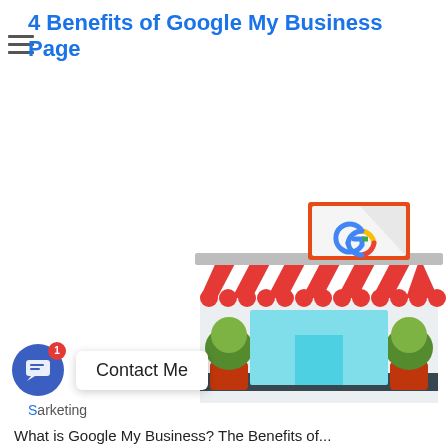4 Benefits of Google My Business Page
[Figure (illustration): Illustration of a storefront shop with a red and white striped awning, green potted bushes, blue glass windows and door, and a Google 'G' logo sign above the entrance on an orange-bordered sign]
[Figure (other): Chat/contact widget showing a blue circular chat button with a red notification badge showing '1', and a white tooltip label reading 'Contact Me']
S...arketing
What is Google My Business? The Benefits of...